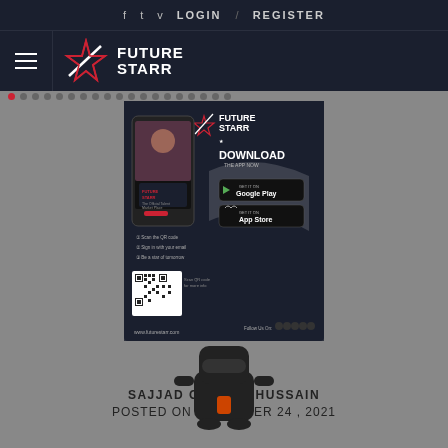f  t  v  LOGIN  /  REGISTER
[Figure (logo): Future Starr logo with star icon and hamburger menu on dark navy background]
[Figure (screenshot): Future Starr app advertisement showing phone with app and download links for Google Play and App Store, with QR code, URL www.futurestarr.com]
[Figure (illustration): Robot/ninja cartoon character icon in dark color with orange detail]
S...or (partial title text visible around the ad image)
SAJJAD GHULAM HUSSAIN
POSTED ON NOVEMBER 24 , 2021